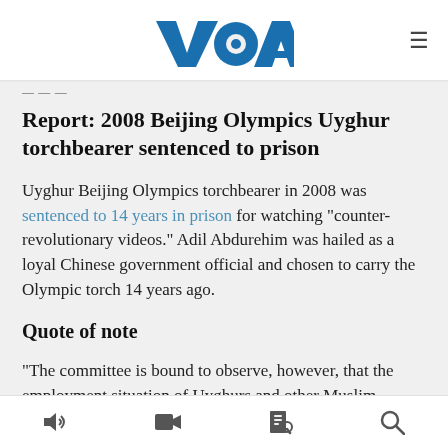[Figure (logo): Voice of America (VOA) blue logo with hamburger menu icon on the right]
VOA
[date stub partially visible]
Report: 2008 Beijing Olympics Uyghur torchbearer sentenced to prison
Uyghur Beijing Olympics torchbearer in 2008 was sentenced to 14 years in prison for watching “counter-revolutionary videos.” Adil Abdurehim was hailed as a loyal Chinese government official and chosen to carry the Olympic torch 14 years ago.
Quote of note
“The committee is bound to observe, however, that the employment situation of Uyghurs and other Muslim minorities in China provides numerous